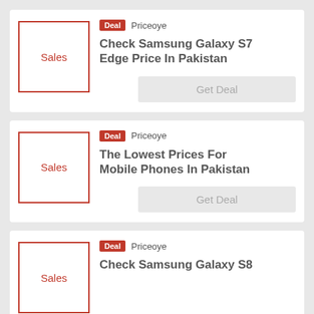[Figure (infographic): Deal card 1: Sales thumbnail with red border, Deal badge from Priceoye, title 'Check Samsung Galaxy S7 Edge Price In Pakistan', Get Deal button]
[Figure (infographic): Deal card 2: Sales thumbnail with red border, Deal badge from Priceoye, title 'The Lowest Prices For Mobile Phones In Pakistan', Get Deal button]
[Figure (infographic): Deal card 3: Sales thumbnail with red border, Deal badge from Priceoye, title 'Check Samsung Galaxy S8', partial]